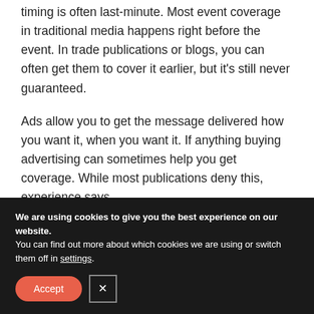timing is often last-minute. Most event coverage in traditional media happens right before the event. In trade publications or blogs, you can often get them to cover it earlier, but it's still never guaranteed.
Ads allow you to get the message delivered how you want it, when you want it. If anything buying advertising can sometimes help you get coverage. While most publications deny this, experience says otherwise, especially with smaller publications
We are using cookies to give you the best experience on our website.
You can find out more about which cookies we are using or switch them off in settings.